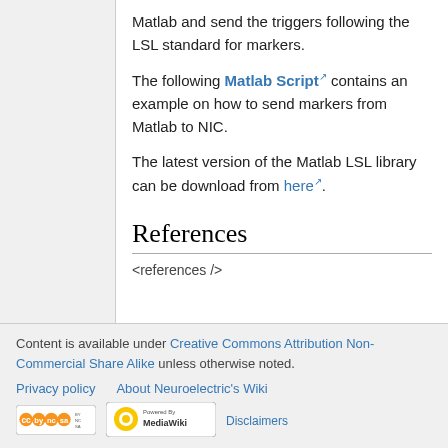Matlab and send the triggers following the LSL standard for markers.
The following Matlab Script contains an example on how to send markers from Matlab to NIC.
The latest version of the Matlab LSL library can be download from here.
References
<references />
Content is available under Creative Commons Attribution Non-Commercial Share Alike unless otherwise noted.
Privacy policy   About Neuroelectric's Wiki
Disclaimers